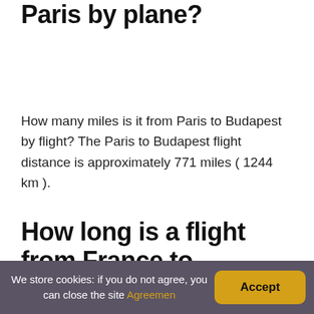How far is Budapest from Paris by plane?
How many miles is it from Paris to Budapest by flight? The Paris to Budapest flight distance is approximately 771 miles ( 1244 km ).
How long is a flight from France to Hungary?
Non-stop flight time from France (CDG) to Hungary (BUD) by different airlines
We store cookies: if you do not agree, you can close the site Agreemen